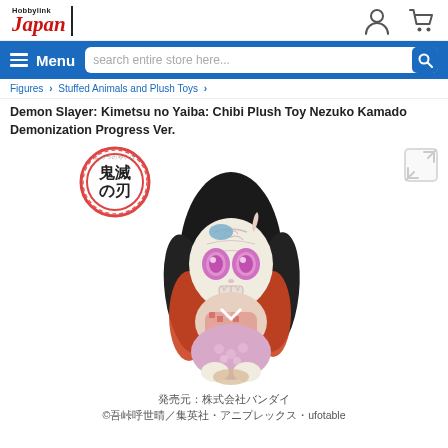HobbyLink Japan
Menu  search entire store here...
Figures > Stuffed Animals and Plush Toys >
Demon Slayer: Kimetsu no Yaiba: Chibi Plush Toy Nezuko Kamado Demonization Progress Ver.
[Figure (photo): Chibi plush toy of Nezuko Kamado in demonization progress version with demon markings, pink eyes, and traditional Japanese clothing. Demon Slayer logo visible in top left of image.]
発売元：株式会社バンダイ
©吾峠呼世晴／集英社・アニプレックス・ufotable